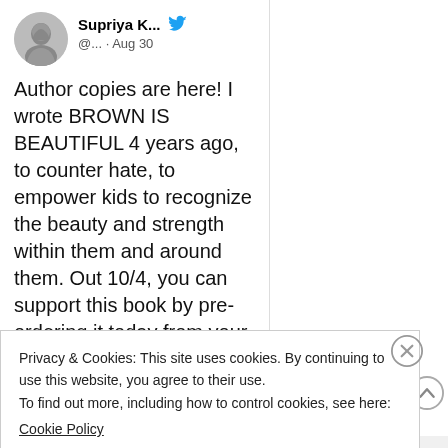[Figure (illustration): Circular avatar photo of a woman in black and white]
Supriya K... @... · Aug 30
Author copies are here! I wrote BROWN IS BEAUTIFUL 4 years ago, to counter hate, to empower kids to recognize the beauty and strength within them and around them. Out 10/4, you can support this book by pre-ordering it today from your local independent
Privacy & Cookies: This site uses cookies. By continuing to use this website, you agree to their use.
To find out more, including how to control cookies, see here:
Cookie Policy
CLOSE AND ACCEPT